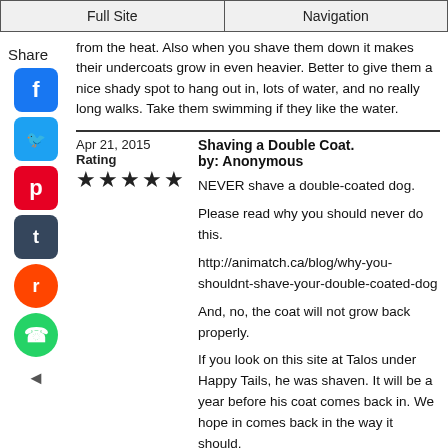Full Site | Navigation
from the heat. Also when you shave them down it makes their undercoats grow in even heavier. Better to give them a nice shady spot to hang out in, lots of water, and no really long walks. Take them swimming if they like the water.
Share
Apr 21, 2015
Rating
★★★★★
Shaving a Double Coat.
by: Anonymous

NEVER shave a double-coated dog.

Please read why you should never do this.

http://animatch.ca/blog/why-you-shouldnt-shave-your-double-coated-dog

And, no, the coat will not grow back properly.

If you look on this site at Talos under Happy Tails, he was shaven. It will be a year before his coat comes back in. We hope in comes back in the way it should.